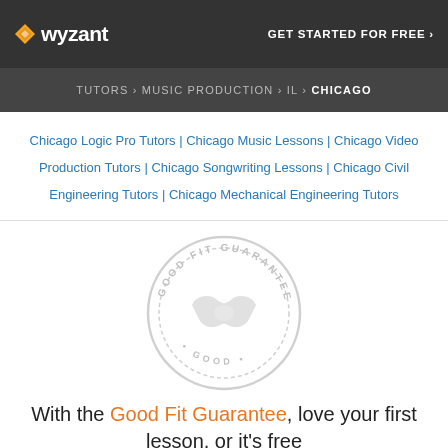wyzant — GET STARTED FOR FREE ›
TUTORS › MUSIC PRODUCTION › IL › CHICAGO
Chicago Logic Pro Tutors | Chicago Music Lessons | Chicago Video Production Tutors | Chicago Songwriting Lessons | Chicago Civil Engineering Tutors | Chicago Mechanical Engineering Tutors
[Figure (illustration): Circular 'Good Fit Guarantee' seal/badge in light gray with handshake icon in the center]
With the Good Fit Guarantee, love your first lesson, or it's free